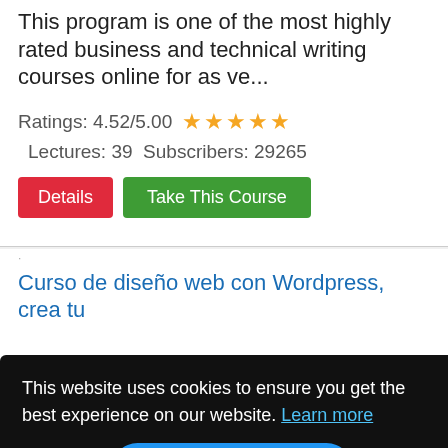This program is one of the most highly rated business and technical writing courses online for as ve...
Ratings: 4.52/5.00 ★★★★★ Lectures: 39 Subscribers: 29265
Details | Take This Course
.
Curso de diseño web con Wordpress, crea tu
...omo ...visual
Ratings: 4.47/5.00 ★★★★☆ Lectures:
This website uses cookies to ensure you get the best experience on our website. Learn more
Got it!